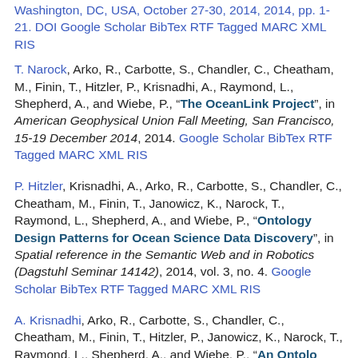Washington, DC, USA, October 27-30, 2014, 2014, pp. 1-21. DOI Google Scholar BibTex RTF Tagged MARC XML RIS
T. Narock, Arko, R., Carbotte, S., Chandler, C., Cheatham, M., Finin, T., Hitzler, P., Krisnadhi, A., Raymond, L., Shepherd, A., and Wiebe, P., "The OceanLink Project", in American Geophysical Union Fall Meeting, San Francisco, 15-19 December 2014, 2014. Google Scholar BibTex RTF Tagged MARC XML RIS
P. Hitzler, Krisnadhi, A., Arko, R., Carbotte, S., Chandler, C., Cheatham, M., Finin, T., Janowicz, K., Narock, T., Raymond, L., Shepherd, A., and Wiebe, P., "Ontology Design Patterns for Ocean Science Data Discovery", in Spatial reference in the Semantic Web and in Robotics (Dagstuhl Seminar 14142), 2014, vol. 3, no. 4. Google Scholar BibTex RTF Tagged MARC XML RIS
A. Krisnadhi, Arko, R., Carbotte, S., Chandler, C., Cheatham, M., Finin, T., Hitzler, P., Janowicz, K., Narock, T., Raymond, L., Shepherd, A., and Wiebe, P., "An Ontology...